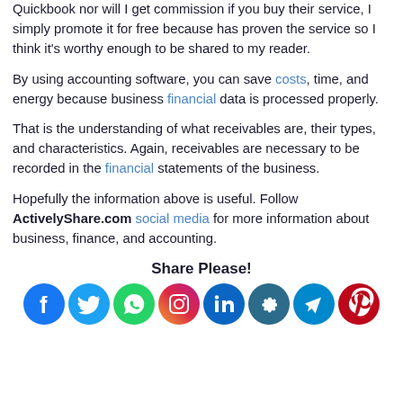Quickbook nor will I get commission if you buy their service, I simply promote it for free because has proven the service so I think it's worthy enough to be shared to my reader.
By using accounting software, you can save costs, time, and energy because business financial data is processed properly.
That is the understanding of what receivables are, their types, and characteristics. Again, receivables are necessary to be recorded in the financial statements of the business.
Hopefully the information above is useful. Follow ActivelyShare.com social media for more information about business, finance, and accounting.
Share Please!
[Figure (infographic): Row of 8 social media icons: Facebook, Twitter, WhatsApp, Instagram, LinkedIn, a gear/settings icon, Telegram, Pinterest]